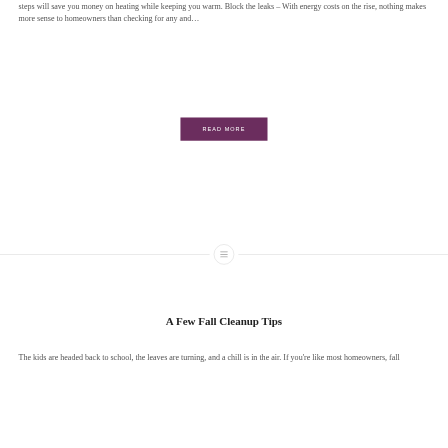steps will save you money on heating while keeping you warm. Block the leaks – With energy costs on the rise, nothing makes more sense to homeowners than checking for any and…
READ MORE
[Figure (other): Horizontal divider line with a circular icon containing three horizontal lines (hamburger/text icon) centered in the middle]
A Few Fall Cleanup Tips
The kids are headed back to school, the leaves are turning, and a chill is in the air. If you're like most homeowners, fall